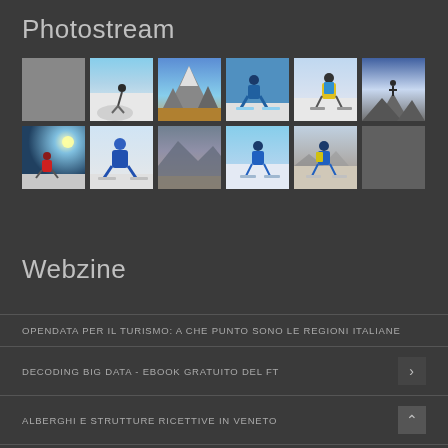Photostream
[Figure (photo): Grid of 12 skiing/mountain photos arranged in 2 rows of 6. Row 1: grey placeholder, skier on snowy slope, mountain peak with autumn trees, skier crouched in blue suit, skier with yellow backpack, person on mountain summit. Row 2: skier with sun glare, skier in blue helmet crouching, blurred mountain landscape, skier in blue on snowy slope, skier in blue and yellow suit on rocky slope, grey placeholder.]
Webzine
OPENDATA PER IL TURISMO: A CHE PUNTO SONO LE REGIONI ITALIANE
DECODING BIG DATA - EBOOK GRATUITO DEL FT
ALBERGHI E STRUTTURE RICETTIVE IN VENETO